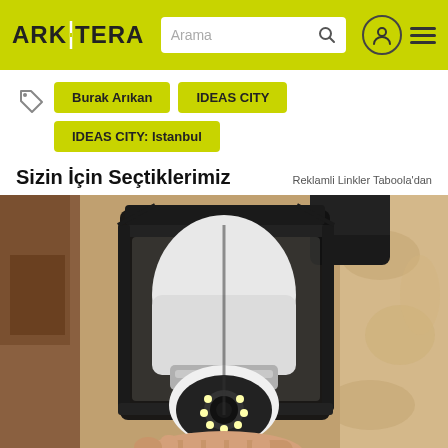ARKITERA | Arama
Burak Arıkan
IDEAS CITY
IDEAS CITY: Istanbul
Sizin İçin Seçtiklerimiz
Reklamli Linkler Taboola'dan
[Figure (photo): A security camera disguised as a light bulb, installed inside a black lantern wall sconce mounted on a stone/stucco wall. A hand is holding the device from below.]